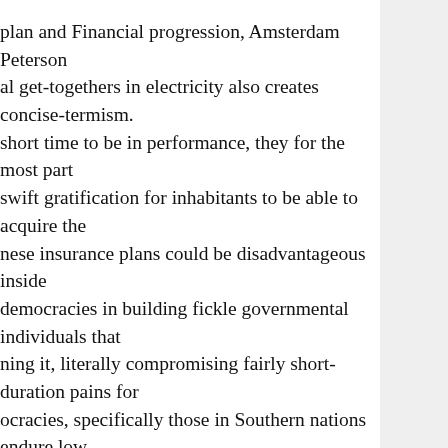plan and Financial progression, Amsterdam Peterson al get-togethers in electricity also creates concise-termism. short time to be in performance, they for the most part swift gratification for inhabitants to be able to acquire the nese insurance plans could be disadvantageous inside democracies in building fickle governmental individuals that ning it, literally compromising fairly short-duration pains for ocracies, specifically those in Southern nations endure low es merely because guidelines will not be continual to end t unsecured debt in the US and the most democratic e global financial instability and in addition the quick-
rhem. On top of that illustrated by Bobiola, "Ancient oes and http://essayonlinewriter.com/report-writing/ Plato, efects of democracy and observed the principal idea of operty for any – as a form of gadget of manipulation which y" . Despite the excitement and achievements of acy still is more likely to the manipulation of greedy and